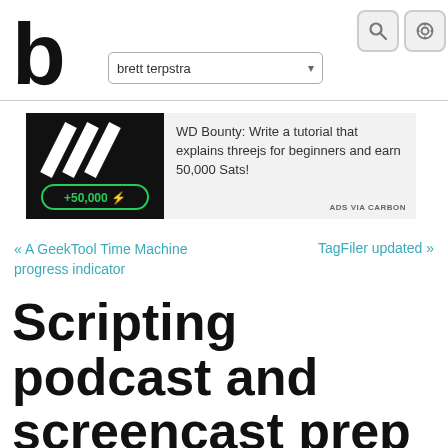brett terpstra
[Figure (logo): Bold lowercase letter b logo for brett terpstra website]
[Figure (infographic): WD Bounty advertisement with black background showing three diagonal white stripes and green +50,000 sats badge]
WD Bounty: Write a tutorial that explains threejs for beginners and earn 50,000 Sats!
ADS VIA CARBON
« A GeekTool Time Machine progress indicator
TagFiler updated »
Scripting podcast and screencast prep on a Mac